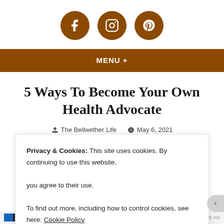[Figure (illustration): Three social media icon circles (Facebook, Instagram, Pinterest) in brown/burnt orange color]
MENU +
5 Ways To Become Your Own Health Advocate
The Bellwether Life   May 6, 2021
Life With A Chronic Illness, Opinion
Privacy & Cookies: This site uses cookies. By continuing to use this website, you agree to their use.

To find out more, including how to control cookies, see here: Cookie Policy
Close and accept